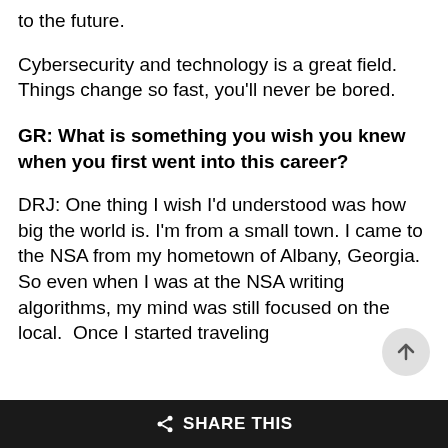to the future.
Cybersecurity and technology is a great field. Things change so fast, you'll never be bored.
GR: What is something you wish you knew when you first went into this career?
DRJ: One thing I wish I'd understood was how big the world is. I'm from a small town. I came to the NSA from my hometown of Albany, Georgia. So even when I was at the NSA writing algorithms, my mind was still focused on the local.  Once I started traveling
SHARE THIS